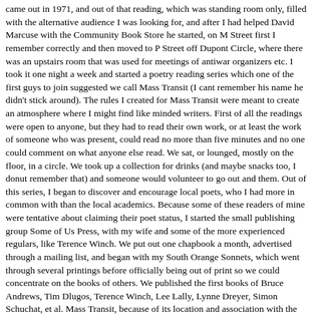came out in 1971, and out of that reading, which was standing room only, filled with the alternative audience I was looking for, and after I had helped David Marcuse with the Community Book Store he started, on M Street first I remember correctly and then moved to P Street off Dupont Circle, where there was an upstairs room that was used for meetings of antiwar organizers etc. I took it one night a week and started a poetry reading series which one of the first guys to join suggested we call Mass Transit (I cant remember his name he didn't stick around). The rules I created for Mass Transit were meant to create an atmosphere where I might find like minded writers. First of all the readings were open to anyone, but they had to read their own work, or at least the work of someone who was present, could read no more than five minutes and no one could comment on what anyone else read. We sat, or lounged, mostly on the floor, in a circle. We took up a collection for drinks (and maybe snacks too, I donut remember that) and someone would volunteer to go out and them. Out of this series, I began to discover and encourage local poets, who I had more in common with than the local academics. Because some of these readers of mine were tentative about claiming their poet status, I started the small publishing group Some of Us Press, with my wife and some of the more experienced regulars, like Terence Winch. We put out one chapbook a month, advertised through a mailing list, and began with my South Orange Sonnets, which went through several printings before officially being out of print so we could concentrate on the books of others. We published the first books of Bruce Andrews, Tim Dlugos, Terence Winch, Lee Lally, Lynne Dreyer, Simon Schuchat, et al. Mass Transit, because of its location and association with the Community Bookstore, and the community it served, was a well mixed group, spanning several generations, the youngest were in their teens and the oldest as far as I knew was in his seventies, and it was about equally male/female, gays and lesbians and African-Americans and several handicapped poets were regulars. One of the great local African-American poets who was a regular was Ahmos Zu-Bolton. Some of Us Press was a separate entity, and because I had my "consciousness raised" as they said back then, by feminism and the